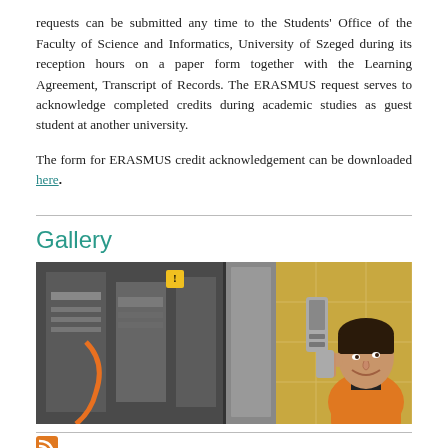requests can be submitted any time to the Students' Office of the Faculty of Science and Informatics, University of Szeged during its reception hours on a paper form together with the Learning Agreement, Transcript of Records. The ERASMUS request serves to acknowledge completed credits during academic studies as guest student at another university.
The form for ERASMUS credit acknowledgement can be downloaded here.
Gallery
[Figure (photo): A composite photo showing laboratory equipment on the left and a young woman in an orange jacket smiling while looking at something on the right.]
RSS icon